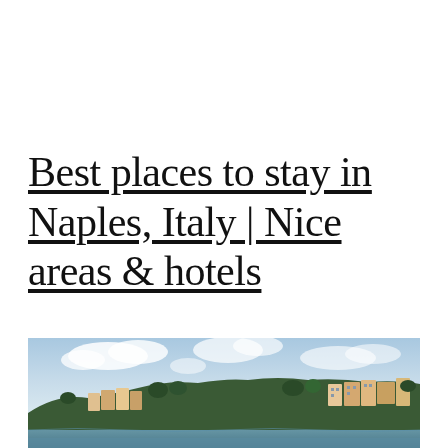Best places to stay in Naples, Italy | Nice areas & hotels
[Figure (photo): Aerial or waterfront view of Naples, Italy, showing colorful residential buildings densely packed on a hillside with a cloudy sky and a body of water visible at the bottom.]